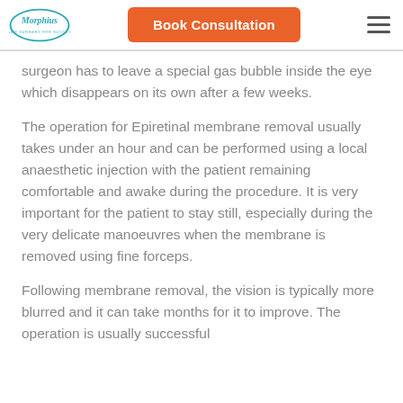Book Consultation
surgeon has to leave a special gas bubble inside the eye which disappears on its own after a few weeks.
The operation for Epiretinal membrane removal usually takes under an hour and can be performed using a local anaesthetic injection with the patient remaining comfortable and awake during the procedure. It is very important for the patient to stay still, especially during the very delicate manoeuvres when the membrane is removed using fine forceps.
Following membrane removal, the vision is typically more blurred and it can take months for it to improve. The operation is usually successful